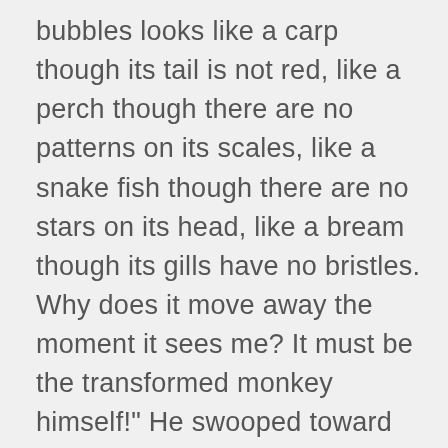bubbles looks like a carp though its tail is not red, like a perch though there are no patterns on its scales, like a snake fish though there are no stars on its head, like a bream though its gills have no bristles. Why does it move away the moment it sees me? It must be the transformed monkey himself!" He swooped toward the fish and snapped at it with his beak. The Great Sage shot out of the water and changed at once into a water